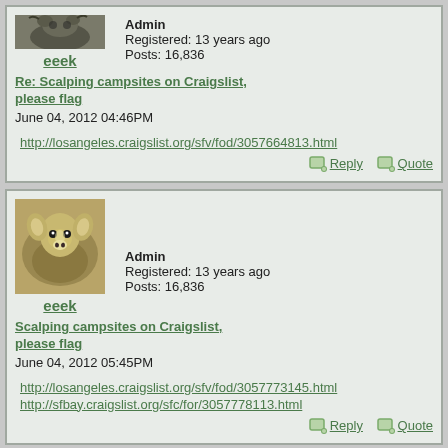[Figure (photo): User avatar photo of an animal (appears to be a water buffalo or similar) cropped at top]
eeek
Admin
Registered: 13 years ago
Posts: 16,836
Re: Scalping campsites on Craigslist, please flag
June 04, 2012 04:46PM
http://losangeles.craigslist.org/sfv/fod/3057664813.html
Reply   Quote
[Figure (photo): User avatar photo of a deer (mule deer) looking at camera]
eeek
Admin
Registered: 13 years ago
Posts: 16,836
Scalping campsites on Craigslist, please flag
June 04, 2012 05:45PM
http://losangeles.craigslist.org/sfv/fod/3057773145.html
http://sfbay.craigslist.org/sfc/for/3057778113.html
Reply   Quote